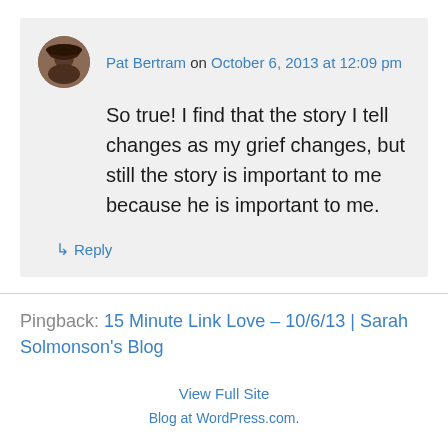Pat Bertram on October 6, 2013 at 12:09 pm
So true! I find that the story I tell changes as my grief changes, but still the story is important to me because he is important to me.
↳ Reply
Pingback: 15 Minute Link Love – 10/6/13 | Sarah Solmonson's Blog
View Full Site
Blog at WordPress.com.